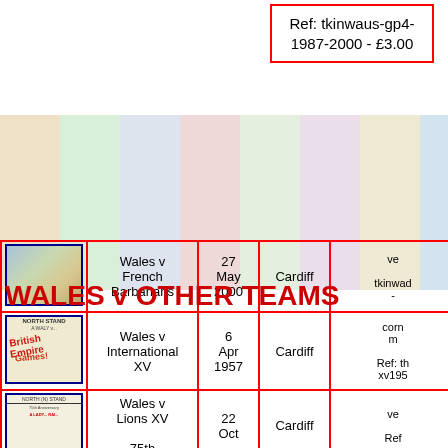Ref: tkinwaus-gp4-1987-2000 - £3.00
[Figure (photo): Background collage of rugby match tickets]
WALES v OTHER TEAMS
| Image | Match | Date | Venue | Ref/Details |
| --- | --- | --- | --- | --- |
| [ticket image] | Wales v French Barbarians | 27 May 2000 | Cardiff | ve... tkinwad- |
| [ticket image] | Wales v International XV | 6 Apr 1957 | Cardiff | corn... m... Ref: th... xv195... |
| [ticket image] | Wales v Lions XV 75th | 22 Oct | Cardiff | ve... Ref... |